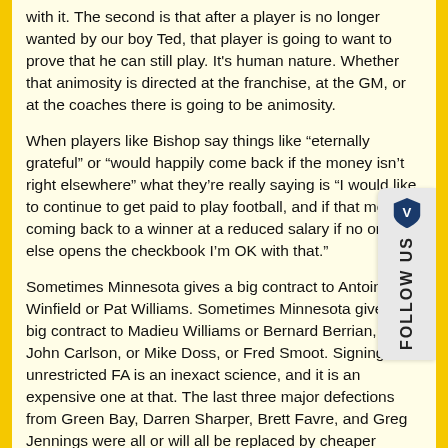with it.  The second is that after a player is no longer wanted by our boy Ted, that player is going to want to prove that he can still play.  It's human nature.  Whether that animosity is directed at the franchise, at the GM, or at the coaches there is going to be animosity.
When players like Bishop say things like "eternally grateful" or "would happily come back if the money isn't right elsewhere" what they're really saying is "I would like to continue to get paid to play football, and if that means coming back to a winner at a reduced salary if no one else opens the checkbook I'm OK with that."
Sometimes Minnesota gives a big contract to Antoine Winfield or Pat Williams.  Sometimes Minnesota gives a big contract to Madieu Williams or Bernard Berrian, or John Carlson, or Mike Doss, or Fred Smoot.  Signing unrestricted FA is an inexact science, and it is an expensive one at that.  The last three major defections from Green Bay, Darren Sharper, Brett Favre, and Greg Jennings were all or will all be replaced by cheaper
[Figure (other): Follow Us widget with a shield/badge icon and vertical text reading FOLLOW US]